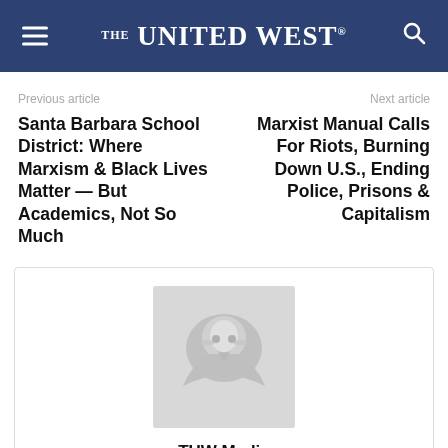THE UNITED WEST
Previous article
Santa Barbara School District: Where Marxism & Black Lives Matter — But Academics, Not So Much
Next article
Marxist Manual Calls For Riots, Burning Down U.S., Ending Police, Prisons & Capitalism
[Figure (photo): Author profile image showing a bald eagle, placeholder/logo image for TUW Media]
TUW Media
https://www.theunitedwest.org/